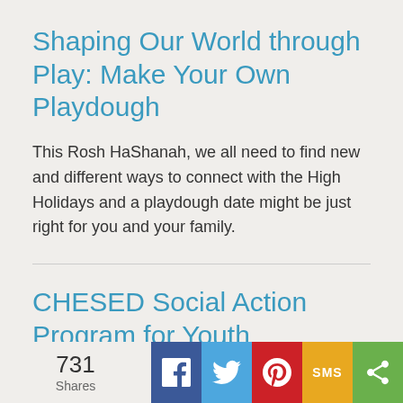Shaping Our World through Play: Make Your Own Playdough
This Rosh HaShanah, we all need to find new and different ways to connect with the High Holidays and a playdough date might be just right for you and your family.
CHESED Social Action Program for Youth
Monthly social action activities for families with children grades K-3.
731 Shares | Facebook | Twitter | Pinterest | SMS | Share